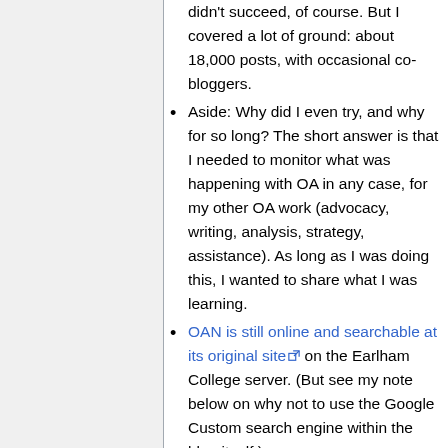didn't succeed, of course. But I covered a lot of ground: about 18,000 posts, with occasional co-bloggers.
Aside: Why did I even try, and why for so long? The short answer is that I needed to monitor what was happening with OA in any case, for my other OA work (advocacy, writing, analysis, strategy, assistance). As long as I was doing this, I wanted to share what I was learning.
OAN is still online and searchable at its original site [ext] on the Earlham College server. (But see my note below on why not to use the Google Custom search engine within the blog itself.)
OAN is preserved and searchable at